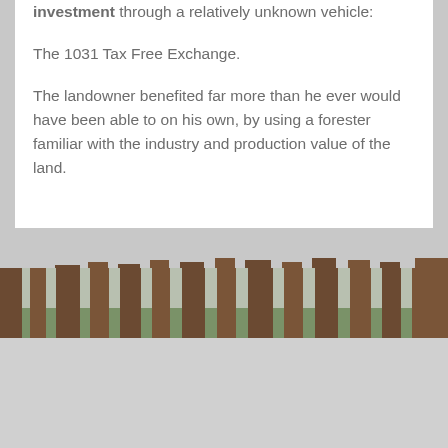investment through a relatively unknown vehicle:
The 1031 Tax Free Exchange.
The landowner benefited far more than he ever would have been able to on his own, by using a forester familiar with the industry and production value of the land.
[Figure (photo): Forest scene with tall pine tree trunks and green foliage in background, winter/overcast light]